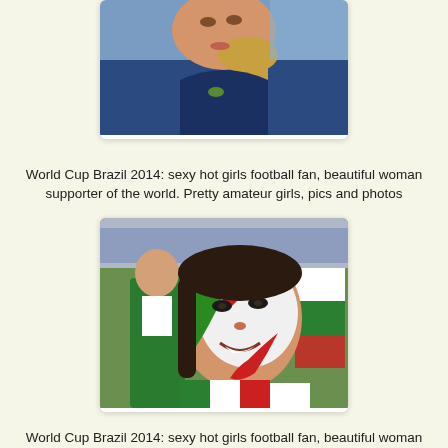[Figure (photo): Partial photo (cropped, top portion cut off) of a blonde woman wearing a blue jacket, appearing to be a football fan at a stadium.]
World Cup Brazil 2014: sexy hot girls football fan, beautiful woman supporter of the world. Pretty amateur girls, pics and photos
[Figure (photo): Photo of a young woman with her face painted in green, white, and red (Italian flag colors), smiling at the camera at a football stadium. Other fans visible in the background.]
World Cup Brazil 2014: sexy hot girls football fan, beautiful woman supporter of the world. Pretty amateur girls, pics and photos